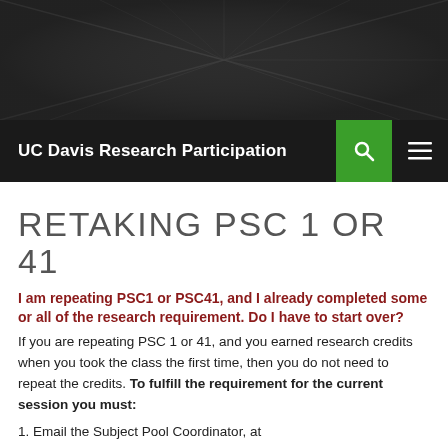[Figure (photo): Black and white close-up photo of a leaf or plant structure with radiating lines, used as decorative header image]
UC Davis Research Participation
RETAKING PSC 1 OR 41
I am repeating PSC1 or PSC41, and I already completed some or all of the research requirement. Do I have to start over?
If you are repeating PSC 1 or 41, and you earned research credits when you took the class the first time, then you do not need to repeat the credits. To fulfill the requirement for the current session you must:
1.  Email the Subject Pool Coordinator, at